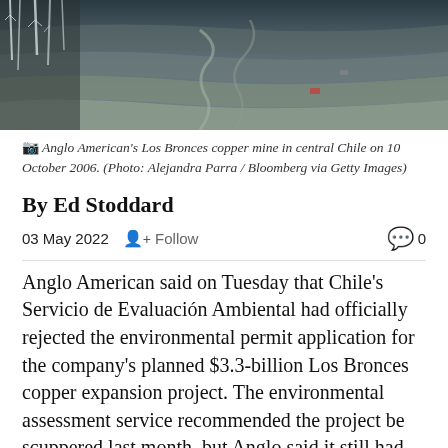[Figure (photo): Aerial view of Anglo American's Los Bronces copper mine in central Chile, showing terraced open-pit mining with winding roads on rocky terrain, covered with frost/ice on vegetation in foreground.]
Anglo American's Los Bronces copper mine in central Chile on 10 October 2006. (Photo: Alejandra Parra / Bloomberg via Getty Images)
By Ed Stoddard
03 May 2022   Follow   0
Anglo American said on Tuesday that Chile's Servicio de Evaluación Ambiental had officially rejected the environmental permit application for the company's planned $3.3-billion Los Bronces copper expansion project. The environmental assessment service recommended the project be scuppered last month, but Anglo said it still had